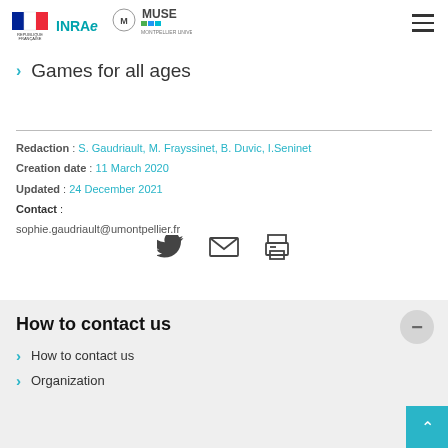[Figure (logo): Republic Francaise flag logo, INRAE logo, MUSE Montpellier University logo]
Games for all ages
Redaction : S. Gaudriault, M. Frayssinet, B. Duvic, I.Seninet
Creation date : 11 March 2020
Updated : 24 December 2021
Contact :
sophie.gaudriault@umontpellier.fr
[Figure (other): Social share icons: Twitter bird, envelope/email, printer]
How to contact us
How to contact us
Organization